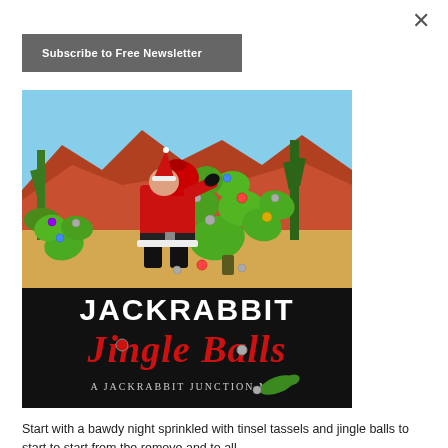×
Subscribe to Free Newsletter
[Figure (illustration): Book cover for 'Jackrabbit Jingle Balls — A Jackrabbit Junction Mystery'. Shows a Santa Claus figure in red suit and black boots decorating a prickly pear cactus with Christmas ornaments in a desert Southwest landscape with saguaro cacti and red rock mesas. Title text at bottom reads 'JACKRABBIT Jingle Balls A Jackrabbit Junction M...' in white and red stylized lettering on black background.]
Start with a bawdy night sprinkled with tinsel tassels and jingle balls to start to start from the remove and to all...